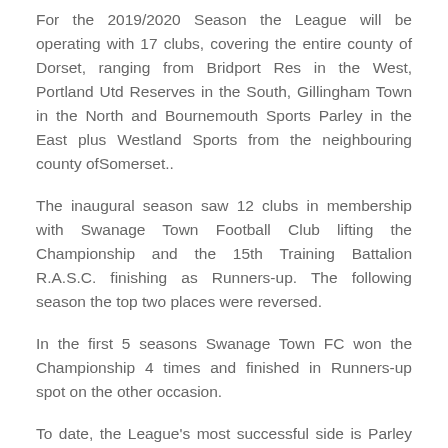For the 2019/2020 Season the League will be operating with 17 clubs, covering the entire county of Dorset, ranging from Bridport Res in the West, Portland Utd Reserves in the South, Gillingham Town in the North and Bournemouth Sports Parley in the East plus Westland Sports from the neighbouring county ofSomerset..
The inaugural season saw 12 clubs in membership with Swanage Town Football Club lifting the Championship and the 15th Training Battalion R.A.S.C. finishing as Runners-up. The following season the top two places were reversed.
In the first 5 seasons Swanage Town FC won the Championship 4 times and finished in Runners-up spot on the other occasion.
To date, the League's most successful side is Parley Sports FC who have won the League title on no less than 12 occasions as well as finishing in second place 9 times.